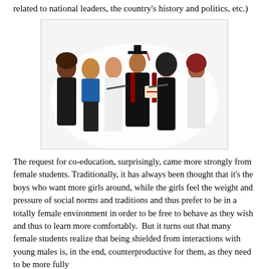related to national leaders, the country's history and politics, etc.)
[Figure (photo): Group of diverse university students in graduation gowns and caps, celebrating together. A male graduate wearing a black cap and gown holds a diploma, surrounded by male and female peers in various attire including traditional dress.]
The request for co-education, surprisingly, came more strongly from female students. Traditionally, it has always been thought that it's the boys who want more girls around, while the girls feel the weight and pressure of social norms and traditions and thus prefer to be in a totally female environment in order to be free to behave as they wish and thus to learn more comfortably.  But it turns out that many female students realize that being shielded from interactions with young males is, in the end, counterproductive for them, as they need to be more fully